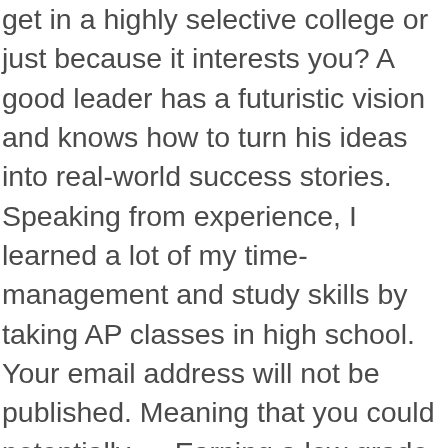get in a highly selective college or just because it interests you? A good leader has a futuristic vision and knows how to turn his ideas into real-world success stories. Speaking from experience, I learned a lot of my time-management and study skills by taking AP classes in high school. Your email address will not be published. Meaning that you could potentially … Earning a low grade or failing a course will have a significant adverse effect on your application, even in a challenging course. It is much better to earn an A or a B in a regular-level course than a C or below in an honors course. Relevance . 1 decade ago. This goes hand in hand with the previous point. However, that doesn't change the fact that college is looming near on the horizon. This student urged Fieldston to drop AP, and three years … Colleges take the difficulty of your classes into consideration, and a lot of admissions officers are impressed by students who challenge themselves with the tougher courses. 12 Answers. By the way, I am currently taking